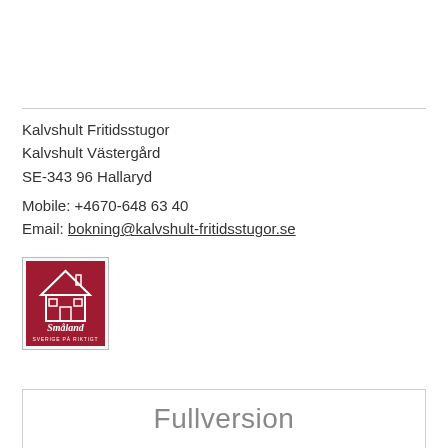Kalvshult Fritidsstugor
Kalvshult Västergård
SE-343 96 Hallaryd
Mobile: +4670-648 63 40
Email: bokning@kalvshult-fritidsstugor.se
[Figure (logo): Småland logo — red square badge with white illustration of Swedish house and text 'Småland Sverige på riktigt']
Fullversion